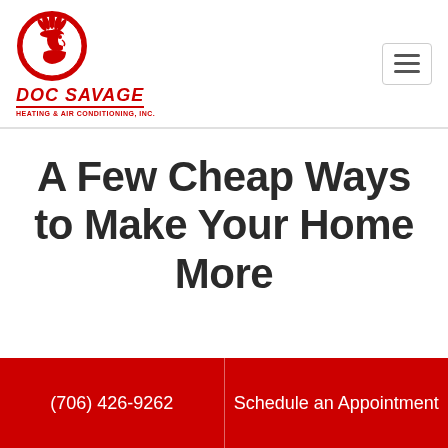[Figure (logo): Doc Savage Heating & Air Conditioning logo featuring a Native American chief profile in a red circle with the company name below in red italic bold text]
A Few Cheap Ways to Make Your Home More Energy Efficient
(706) 426-9262
Schedule an Appointment